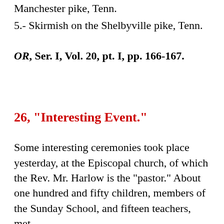Manchester pike, Tenn.
5.- Skirmish on the Shelbyville pike, Tenn.
OR, Ser. I, Vol. 20, pt. I, pp. 166-167.
26, "Interesting Event."
Some interesting ceremonies took place yesterday, at the Episcopal church, of which the Rev. Mr. Harlow is the "pastor." About one hundred and fifty children, members of the Sunday School, and fifteen teachers, met